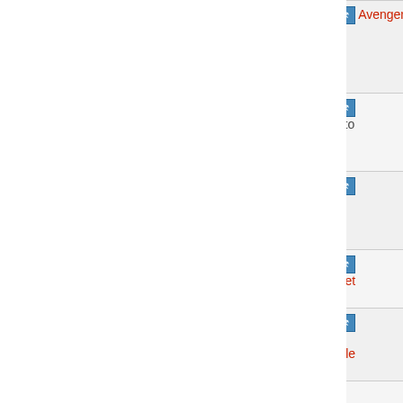| Item | Action | Result |
| --- | --- | --- |
| □□□□□□ Crimson Avenger | Grind [coin][hammer] Avenger to +10 | Ability Success Rate +1 x3 |
| □□□□□□□□ Discarded Gleaming Rifle | Grind [coin][hammer] Latria Rain to +10 | Ability Success Rate +1 x3 |
| □□□□□□□□ Discarded Shining Rifle | Grind [coin][hammer] Gloam Rain to +10 | Ability Success Rate +1 x3 |
| □□□□□□ Bride's Blue | Grind [star][hammer] Blue Bouquet Rifle to +10 | Synthesis x5 |
| □□□□□□ Hidden Intent | Grind [star][hammer] Funny Bouquet Rifle to +10 | Synthesis x5 |
| □□□□□□□□□□ |  | Ability |